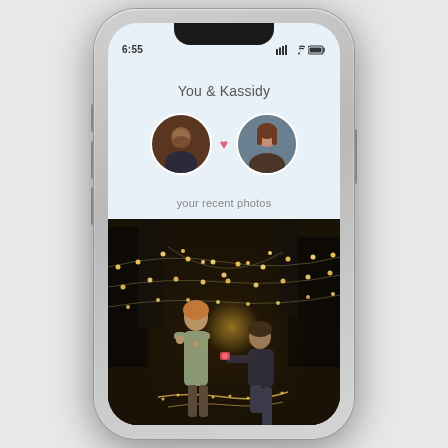[Figure (screenshot): iPhone X mockup showing a dating app screen titled 'You & Kassidy' with two circular profile photos (male and female) connected by a pink heart, text 'your recent photos' below, and a romantic proposal photo with string lights filling the lower portion of the screen.]